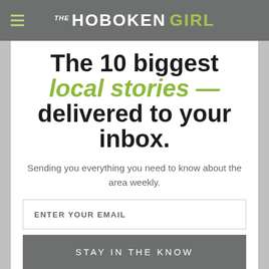THE HOBOKEN GIRL
The 10 biggest local stories — delivered to your inbox.
Sending you everything you need to know about the area weekly.
ENTER YOUR EMAIL
STAY IN THE KNOW
Select your child's age group at registration.